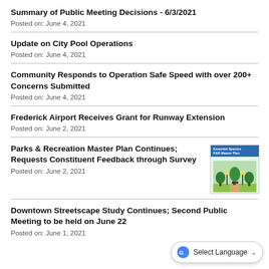Summary of Public Meeting Decisions - 6/3/2021
Posted on: June 4, 2021
Update on City Pool Operations
Posted on: June 4, 2021
Community Responds to Operation Safe Speed with over 200+ Concerns Submitted
Posted on: June 4, 2021
Frederick Airport Receives Grant for Runway Extension
Posted on: June 2, 2021
Parks & Recreation Master Plan Continues; Requests Constituent Feedback through Survey
Posted on: June 2, 2021
[Figure (illustration): Parks & Recreation Master Plan book cover thumbnail with blue header and green trees illustration]
Downtown Streetscape Study Continues; Second Public Meeting to be held on June 22
Posted on: June 1, 2021